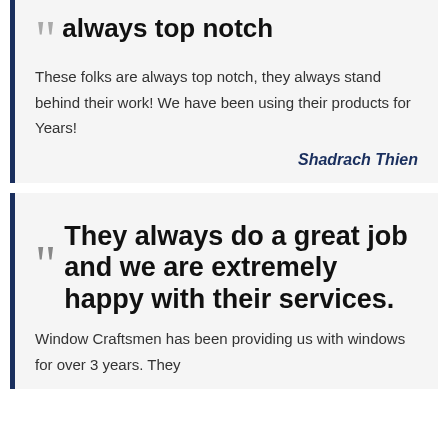always top notch
These folks are always top notch, they always stand behind their work! We have been using their products for Years!
Shadrach Thien
They always do a great job and we are extremely happy with their services.
Window Craftsmen has been providing us with windows for over 3 years. They